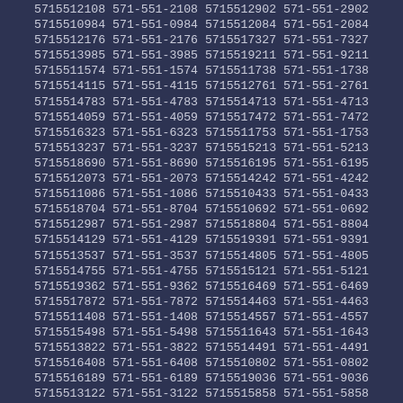5715512108 571-551-2108 5715512902 571-551-2902
5715510984 571-551-0984 5715512084 571-551-2084
5715512176 571-551-2176 5715517327 571-551-7327
5715513985 571-551-3985 5715519211 571-551-9211
5715511574 571-551-1574 5715511738 571-551-1738
5715514115 571-551-4115 5715512761 571-551-2761
5715514783 571-551-4783 5715514713 571-551-4713
5715514059 571-551-4059 5715517472 571-551-7472
5715516323 571-551-6323 5715511753 571-551-1753
5715513237 571-551-3237 5715515213 571-551-5213
5715518690 571-551-8690 5715516195 571-551-6195
5715512073 571-551-2073 5715514242 571-551-4242
5715511086 571-551-1086 5715510433 571-551-0433
5715518704 571-551-8704 5715510692 571-551-0692
5715512987 571-551-2987 5715518804 571-551-8804
5715514129 571-551-4129 5715519391 571-551-9391
5715513537 571-551-3537 5715514805 571-551-4805
5715514755 571-551-4755 5715515121 571-551-5121
5715519362 571-551-9362 5715516469 571-551-6469
5715517872 571-551-7872 5715514463 571-551-4463
5715511408 571-551-1408 5715514557 571-551-4557
5715515498 571-551-5498 5715511643 571-551-1643
5715513822 571-551-3822 5715514491 571-551-4491
5715516408 571-551-6408 5715510802 571-551-0802
5715516189 571-551-6189 5715519036 571-551-9036
5715513122 571-551-3122 5715515858 571-551-5858
5715516654 571-551-6654 5715516799 571-551-6799
5715511098 571-551-1098 5715513138 571-551-3138
5715518366 571-551-8366 5715512735 571-551-2735